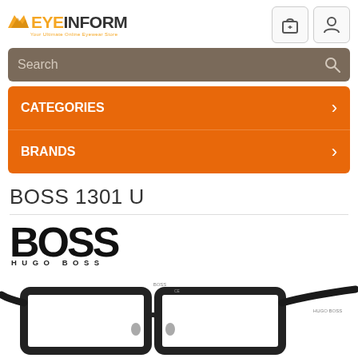[Figure (logo): EyeInform logo with orange eye icon and tagline 'Your Ultimate Online Eyewear Store']
[Figure (screenshot): Shopping bag icon button]
[Figure (screenshot): User/person icon button]
Search
CATEGORIES
BRANDS
BOSS 1301 U
[Figure (logo): Hugo Boss logo with large BOSS text and HUGO BOSS subtitle]
[Figure (photo): Product photo of BOSS 1301 U eyeglasses frames in dark/black color, rectangular shape, partially cropped at bottom of page]